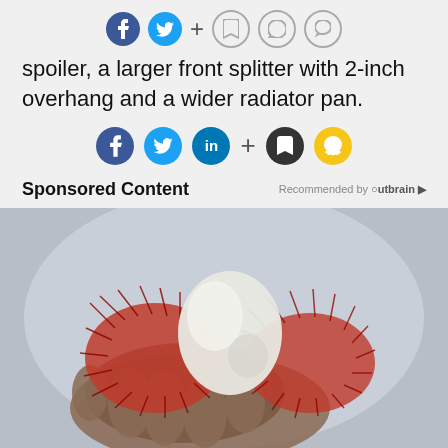[Figure (infographic): Social media sharing icons row (Facebook, Twitter, plus, bookmark, Snapchat, chat) at top of page]
spoiler, a larger front splitter with 2-inch overhang and a wider radiator pan.
[Figure (infographic): Social media sharing icons row (Facebook, Twitter, LinkedIn, plus, bookmark, Snapchat) in the middle]
Sponsored Content
Recommended by Outbrain
[Figure (photo): A hand holding an open rambutan fruit showing the white flesh inside, with red spiky skin peeled back.]